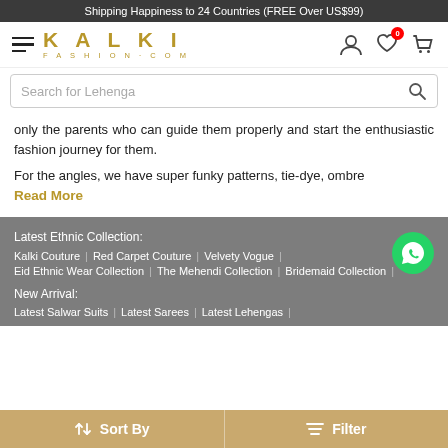Shipping Happiness to 24 Countries (FREE Over US$99)
[Figure (logo): Kalki Fashion.com logo with hamburger menu and icons for account, wishlist (badge: 0), and cart]
[Figure (other): Search bar with placeholder text 'Search for Lehenga' and search icon]
only the parents who can guide them properly and start the enthusiastic fashion journey for them.
For the angles, we have super funky patterns, tie-dye, ombre
Read More
Latest Ethnic Collection:
Kalki Couture | Red Carpet Couture | Velvety Vogue |
Eid Ethnic Wear Collection | The Mehendi Collection | Bridemaid Collection |
New Arrival:
Latest Salwar Suits | Latest Sarees | Latest Lehengas |
Sort By   Filter